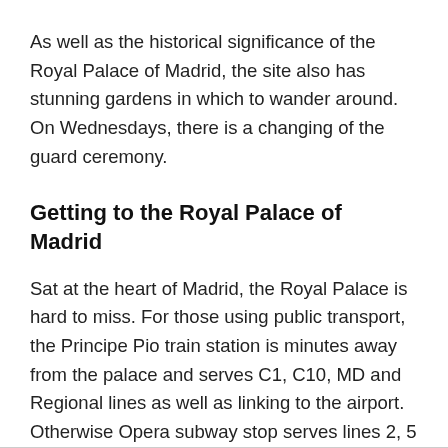As well as the historical significance of the Royal Palace of Madrid, the site also has stunning gardens in which to wander around. On Wednesdays, there is a changing of the guard ceremony.
Getting to the Royal Palace of Madrid
Sat at the heart of Madrid, the Royal Palace is hard to miss. For those using public transport, the Principe Pio train station is minutes away from the palace and serves C1, C10, MD and Regional lines as well as linking to the airport. Otherwise Opera subway stop serves lines 2, 5 and R.